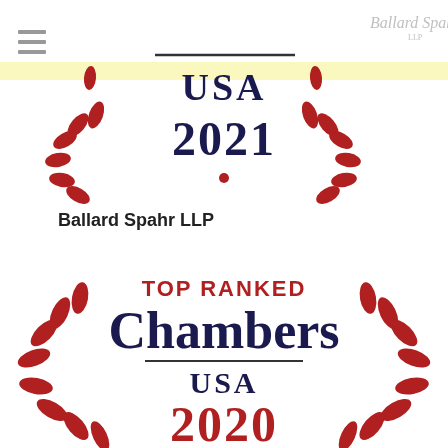[Figure (logo): Chambers USA 2021 top ranked badge with red laurel wreath and Ballard Spahr LLP logo watermark in top right]
Ballard Spahr LLP
[Figure (logo): Chambers USA 2020 Top Ranked badge with large red laurel wreath, red TOP RANKED text, dark blue Chambers text, blue USA and 2020 text]